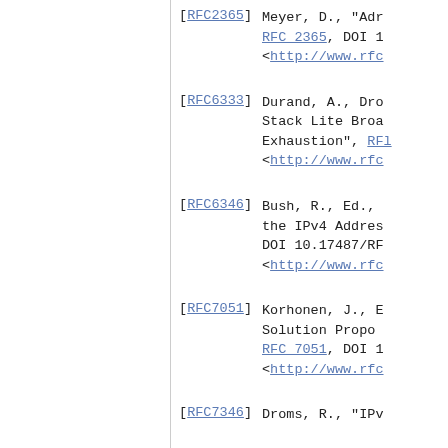[RFC2365]  Meyer, D., "Adr... RFC 2365, DOI 1... <http://www.rfc...
[RFC6333]  Durand, A., Dro... Stack Lite Broa... Exhaustion", RFC... <http://www.rfc...
[RFC6346]  Bush, R., Ed.,... the IPv4 Addres... DOI 10.17487/RF... <http://www.rfc...
[RFC7051]  Korhonen, J., B... Solution Propo... RFC 7051, DOI 1... <http://www.rfc...
[RFC7346]  Droms, R., "IPv...